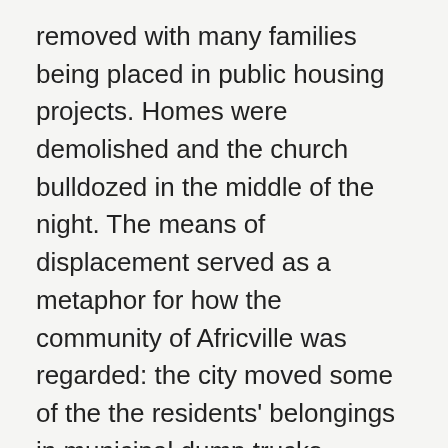removed with many families being placed in public housing projects. Homes were demolished and the church bulldozed in the middle of the night. The means of displacement served as a metaphor for how the community of Africville was regarded: the city moved some of the the residents' belongings in municipal dump trucks.
In 1969, the people of Africville began seeking redress with the formation of the Africville Action Committee to reunite the people. In 1983, the Africville Genealogy Society was formed and in 1985, the society began to seek recompense from the city of Halifax for the destruction of the Africville community. In 2010, after a long fight, a settlement was finally reached with the city which included 2.5 acres of land to serve for the reconstruction of the church, $3 million toward the construction costs and a formal public apology by